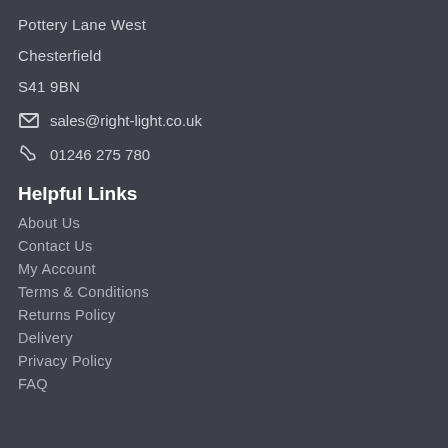Pottery Lane West
Chesterfield
S41 9BN
✉ sales@right-light.co.uk
📞 01246 275 780
Helpful Links
About Us
Contact Us
My Account
Terms & Conditions
Returns Policy
Delivery
Privacy Policy
FAQ